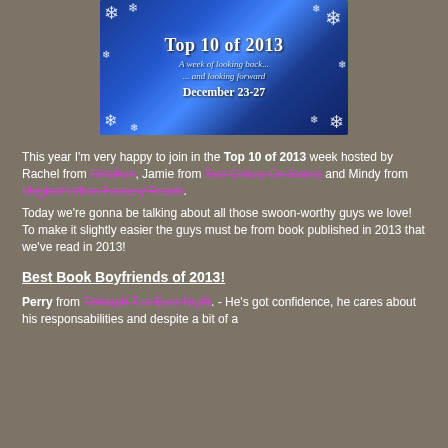[Figure (illustration): Banner image for 'Top 10 of 2013' event with blue winter snowflake background. Text reads: 'Top 10 of 2013 / A week of looking back... / ... and looking forward / December 23-27']
This year I'm very happy to join in the Top 10 of 2013 week hosted by Rachel from Fiktshun, Jamie from Two Chicks On Books and Mindy from Magical Urban Fantasy Reads.
Today we're gonna be talking about all those swoon-worthy guys we love! To make it slightly easier the guys must be from book published in 2013 that we've read in 2013!
Best Book Boyfriends of 2013!
Perry from Through The Ever Night. - He's got confidence, he cares about his responsabilities and despite a bit of a